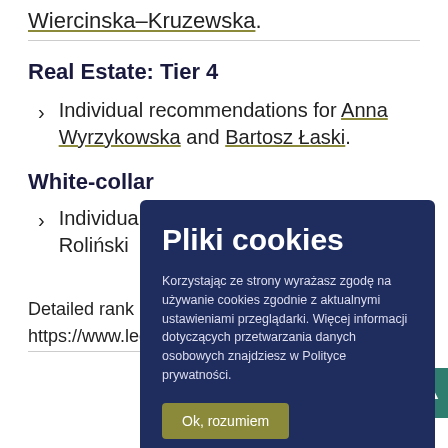Wiercinska–Kruzewska.
Real Estate: Tier 4
Individual recommendations for Anna Wyrzykowska and Bartosz Łaski.
White-collar
Individual recommendations for ... Roliński ...
Detailed rank...
https://www.legal500.com/firms/11533-wkb-
[Figure (other): Cookie consent overlay popup in Polish. Title: Pliki cookies. Body: Korzystając ze strony wyrażasz zgodę na używanie cookies zgodnie z aktualnymi ustawieniami przeglądarki. Więcej informacji dotyczących przetwarzania danych osobowych znajdziesz w Polityce prywatności. Button: Ok, rozumiem.]